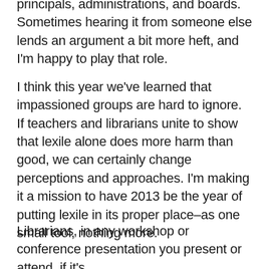principals, administrations, and boards. Sometimes hearing it from someone else lends an argument a bit more heft, and I'm happy to play that role.
I think this year we've learned that impassioned groups are hard to ignore. If teachers and librarians unite to show that lexile alone does more harm than good, we can certainly change perceptions and approaches. I'm making it a mission to have 2013 be the year of putting lexile in its proper place–as one small tool, nothing more.
Librarians, in any workshop or conference presentation you present or attend, if it's